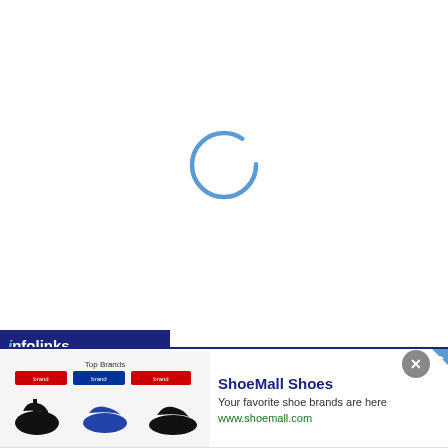[Figure (other): Web browser loading spinner — a partial circle arc in blue, indicating a page is loading]
[Figure (screenshot): Infolinks in-frame advertisement banner for ShoeMall Shoes showing shoe product images, title 'ShoeMall Shoes', description 'Your favorite shoe brands are here', URL 'www.shoemall.com', with a blue arrow navigation button on the right and a close (X) button]
ShoeMall Shoes
Your favorite shoe brands are here
www.shoemall.com